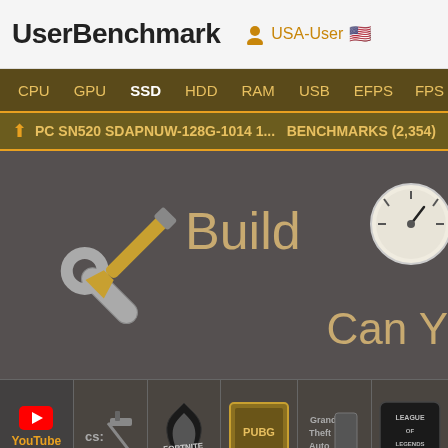UserBenchmark — USA-User
CPU GPU SSD HDD RAM USB EFPS FPS Sk
PC SN520 SDAPNUW-128G-1014 1...  BENCHMARKS (2,354)
[Figure (screenshot): Build section with tools icon (crossed screwdriver and wrench) and speedometer graphic on the right. Text reads 'Build' and 'Can Y']
[Figure (screenshot): Game icons row: YouTube *NEW*, CS:GO, Fortnite, PUBG, Grand Theft Auto, League of Legends]
About • User Guide • FAQs